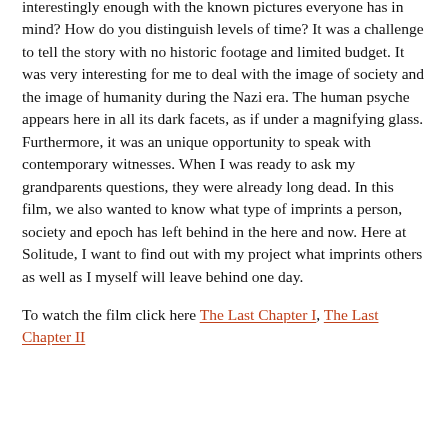interestingly enough with the known pictures everyone has in mind? How do you distinguish levels of time? It was a challenge to tell the story with no historic footage and limited budget. It was very interesting for me to deal with the image of society and the image of humanity during the Nazi era. The human psyche appears here in all its dark facets, as if under a magnifying glass. Furthermore, it was an unique opportunity to speak with contemporary witnesses. When I was ready to ask my grandparents questions, they were already long dead. In this film, we also wanted to know what type of imprints a person, society and epoch has left behind in the here and now. Here at Solitude, I want to find out with my project what imprints others as well as I myself will leave behind one day.
To watch the film click here The Last Chapter I, The Last Chapter II